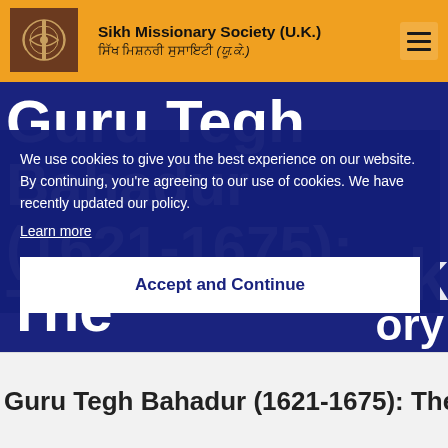Sikh Missionary Society (U.K.) — ਸਿੱਖ ਮਿਸ਼ਨਰੀ ਸੁਸਾਇਟੀ (ਯੂ.ਕੇ.)
Guru Tegh Bahadur (1621-1675): The
We use cookies to give you the best experience on our website. By continuing, you're agreeing to our use of cookies. We have recently updated our policy.
Learn more
Accept and Continue
Guru Tegh Bahadur (1621-1675): The